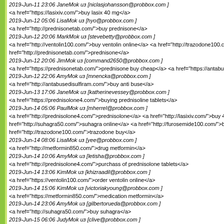2019-Jun-11 23:06 JaneMok из [niclasjohansson@probbox.com ]
<a href="https://lasixiv.com/">buy lasix 40 mg</a>
2019-Jun-12 05:06 LisaMok из [hyo@probbox.com ]
<a href="http://prednisonetab.com/">buy prednisone</a>
2019-Jun-12 20:06 MarkMok из [stevebetty@probbox.com ]
<a href="http://ventolin100.com/">buy ventolin online</a> <a href="http://trazodone100.co... href="http://prednisonetab.com/">prednisone</a>
2019-Jun-12 20:06 JimMok из [command2650@probbox.com ]
<a href="https://prednisonetab.com/">prednisone buy cheap</a> <a href="https://antabus...
2019-Jun-12 22:06 AmyMok из [mnencka@probbox.com ]
<a href="http://antabusedisulfiram.com/">buy anti buse</a>
2019-Jun-13 17:06 JaneMok из [katherinevessey@probbox.com ]
<a href="https://prednisolone4.com/">buying prednisoline tablets</a>
2019-Jun-14 05:06 PaulMok из [mherrel@probbox.com ]
<a href="http://prednisolone4.com/">prednisolone</a> <a href="http://lasixiv.com/">buy 4... href="http://suhagra50.com/">suhagra online</a> <a href="http://furosemide100.com/">b... href="http://trazodone100.com/">trazodone buy</a>
2019-Jun-14 08:06 LisaMok из [yee@probbox.com ]
<a href="http://metformin850.com/">drug metformin</a>
2019-Jun-14 10:06 AmyMok из [letisha@probbox.com ]
<a href="http://prednisolone4.com/">purchass of prednisolone tablets</a>
2019-Jun-14 13:06 KimMok из [khizraadil@probbox.com ]
<a href="https://ventolin100.com/">order ventolin online</a>
2019-Jun-14 15:06 KimMok из [victoriakyoung@probbox.com ]
<a href="https://metformin850.com/">medication metformin</a>
2019-Jun-14 23:06 AmyMok из [gilbertorueda@probbox.com ]
<a href="http://suhagra50.com/">buy suhagra</a>
2019-Jun-15 06:06 JudyMok из [clive@probbox.com ]
<a href="http://amoxicillin500mgcapsule.com/">amoxicillin</a> <a href="http://avodart05.... indocin</a> <a href="http://ventolinprice.com/">buy ventolin online</a> <a href="http://ret... href="http://tadalafil20mgonline.com/">tadalafil 20 mg</a> <a href="http://propeciasale.co... href="http://zoloft100.com/">buy sertraline online</a> <a href="http://fluoxetine10.com/">f...